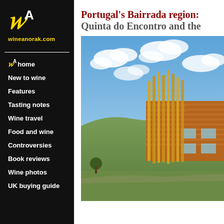[Figure (logo): wineanorak.com logo: stylized italic W with superscript A in yellow on black background, with site URL wineanorak.com in yellow below]
W^A home
New to wine
Features
Tasting notes
Wine travel
Food and wine
Controversies
Book reviews
Wine photos
UK buying guide
Portugal's Bairrada region: Quinta do Encontro and the
[Figure (photo): Photograph of a modern building with wooden vertical slat facade and horizontal ribbed metal cladding, under a blue sky with white clouds, surrounded by green hills. This appears to be the Quinta do Encontro winery building in Portugal's Bairrada region.]